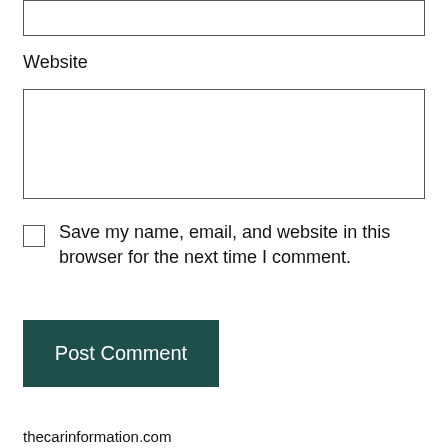Website
Save my name, email, and website in this browser for the next time I comment.
Post Comment
thecarinformation.com